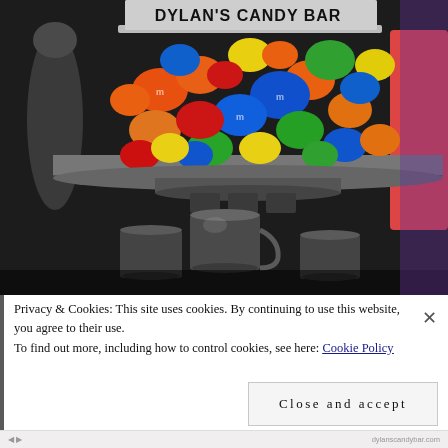[Figure (photo): Photo of Dylan's Candy Bar dispenser jar filled with colorful M&M candies (orange, blue, green, yellow, red) sitting on a metallic pedestal with small metal dispensing cups below, set against a dark background.]
Privacy & Cookies: This site uses cookies. By continuing to use this website, you agree to their use. To find out more, including how to control cookies, see here: Cookie Policy
Close and accept